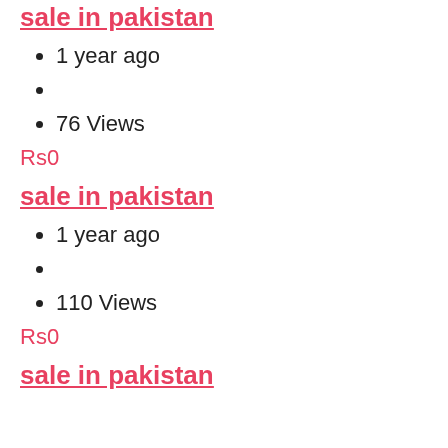sale in pakistan
1 year ago
76 Views
Rs0
sale in pakistan
1 year ago
110 Views
Rs0
sale in pakistan